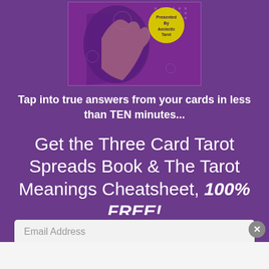[Figure (illustration): Book cover image for Tarot Spreads book with 'Presented By Aeclectic Tarot' yellow badge, purple background with hand holding tarot cards]
Tap into true answers from your cards in less than TEN minutes...
Get the Three Card Tarot Spreads Book & The Tarot Meanings Cheatsheet, 100% FREE!
Email Address